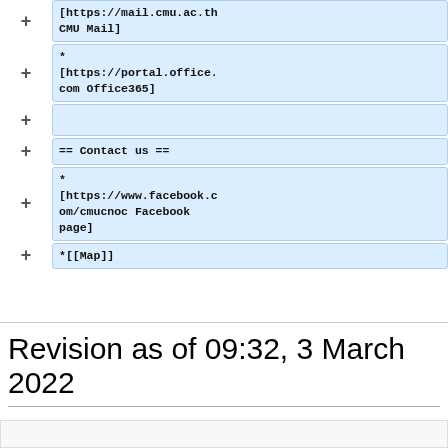+ [https://mail.cmu.ac.th CMU Mail]
+ *
[https://portal.office.
com Office365]
+
+ == Contact us ==
+ *
[https://www.facebook.c
om/cmucnoc Facebook
page]
+ *[[Map]]
Revision as of 09:32, 3 March 2022